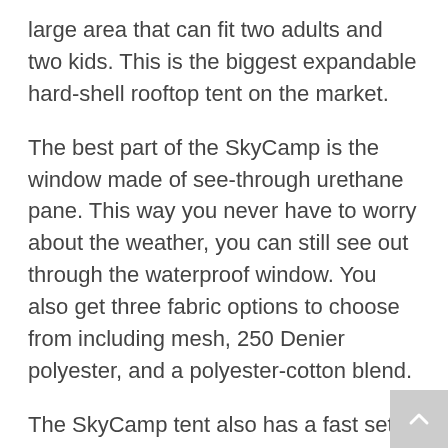large area that can fit two adults and two kids. This is the biggest expandable hard-shell rooftop tent on the market.
The best part of the SkyCamp is the window made of see-through urethane pane. This way you never have to worry about the weather, you can still see out through the waterproof window. You also get three fabric options to choose from including mesh, 250 Denier polyester, and a polyester-cotton blend.
The SkyCamp tent also has a fast set up by just popping it open and sliding out the floor along with the ladder. It can expand to a pretty decent size of more than 82 inches. Other features include an aluminum floor with a